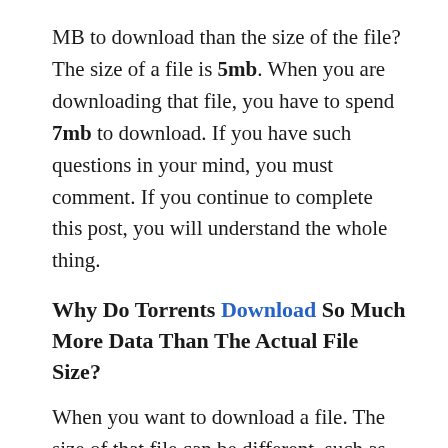MB to download than the size of the file? The size of a file is 5mb. When you are downloading that file, you have to spend 7mb to download. If you have such questions in your mind, you must comment. If you continue to complete this post, you will understand the whole thing.
Why Do Torrents Download So Much More Data Than The Actual File Size?
When you want to download a file. The size of that file can be different, such as 1mb to 100GB can be more. And what you are downloading is not only when downloading files, but also when downloading any video photos, games, apps, etc. You will notice one thing- Why is excess data consumed while